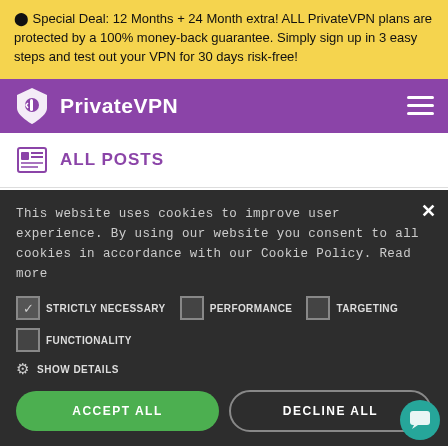⬤ Special Deal: 12 Months + 24 Month extra! ALL PrivateVPN plans are protected by a 100% money-back guarantee. Simply sign up in 3 easy steps and test out your VPN for 30 days risk-free!
[Figure (logo): PrivateVPN logo with shield icon and white text on purple background, hamburger menu icon on right]
ALL POSTS
This website uses cookies to improve user experience. By using our website you consent to all cookies in accordance with our Cookie Policy. Read more
STRICTLY NECESSARY (checked), PERFORMANCE (unchecked), TARGETING (unchecked)
FUNCTIONALITY (unchecked)
SHOW DETAILS
ACCEPT ALL
DECLINE ALL